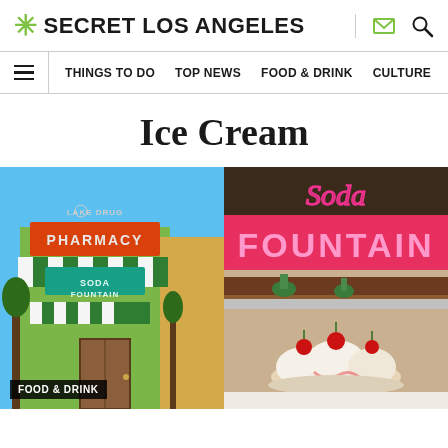* SECRET LOS ANGELES
THINGS TO DO  TOP NEWS  FOOD & DRINK  CULTURE
Ice Cream
[Figure (photo): Two side-by-side photos: left shows the exterior of a pharmacy soda fountain building with green-striped awnings and retro signage; right shows a neon 'Soda Fountain' sign and an ice cream sundae with cherries on top.]
FOOD & DRINK